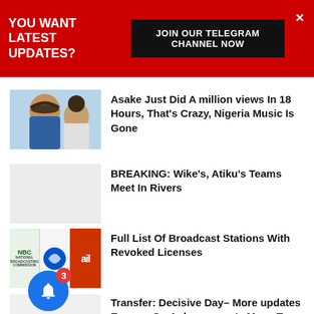YOU WANT LATEST UPDATES? JOIN OUR TELEGRAM CHANNEL NOW
Asake Just Did A million views In 18 Hours, That's Crazy, Nigeria Music Is Gone
BREAKING: Wike's, Atiku's Teams Meet In Rivers
Full List Of Broadcast Stations With Revoked Licenses
Transfer: Decisive Day– More updates Emerge On Aubameyang's Move To Chelsea
Anthony Joshua Taunt At Tyson Fury Lifestyle With Cheeky Retirement Remark